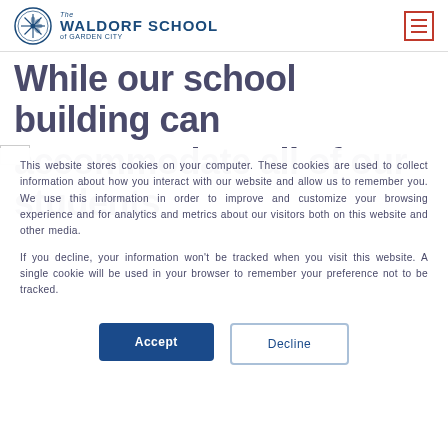The Waldorf School of Garden City
While our school building can accommodate all of our students
This website stores cookies on your computer. These cookies are used to collect information about how you interact with our website and allow us to remember you. We use this information in order to improve and customize your browsing experience and for analytics and metrics about our visitors both on this website and other media.

If you decline, your information won't be tracked when you visit this website. A single cookie will be used in your browser to remember your preference not to be tracked.
Accept
Decline